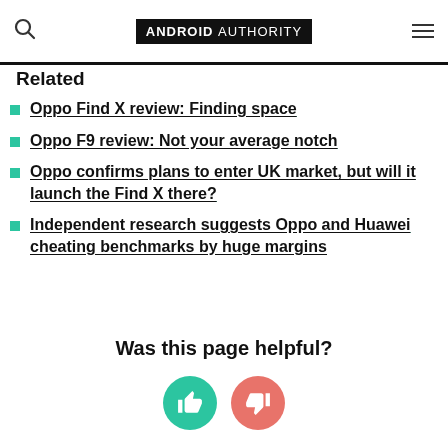ANDROID AUTHORITY
Related
Oppo Find X review: Finding space
Oppo F9 review: Not your average notch
Oppo confirms plans to enter UK market, but will it launch the Find X there?
Independent research suggests Oppo and Huawei cheating benchmarks by huge margins
Was this page helpful?